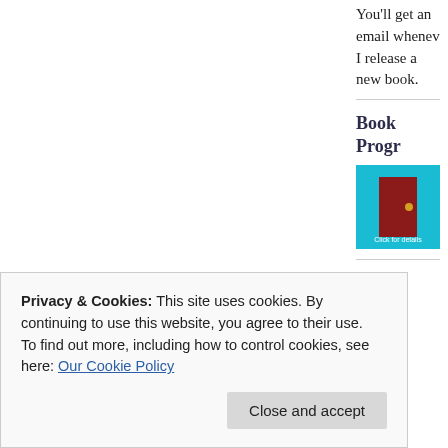You'll get an email whenever I release a new book.
Book Progr
[Figure (illustration): Book cover image on teal background with 'Click for details' label]
Privacy & Cookies: This site uses cookies. By continuing to use this website, you agree to their use.
To find out more, including how to control cookies, see here: Our Cookie Policy
Close and accept
Recer